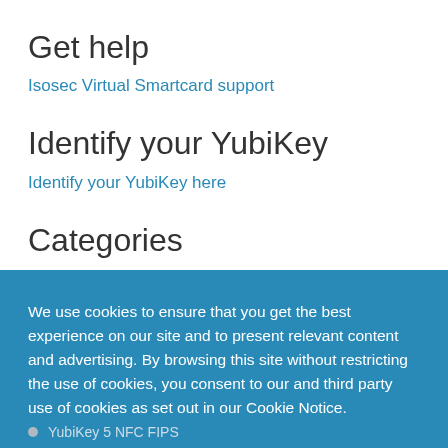Get help
Isosec Virtual Smartcard support
Identify your YubiKey
Identify your YubiKey here
Categories
We use cookies to ensure that you get the best experience on our site and to present relevant content and advertising. By browsing this site without restricting the use of cookies, you consent to our and third party use of cookies as set out in our Cookie Notice.
Preferences
Accept all
YubiKey 5 NFC FIPS